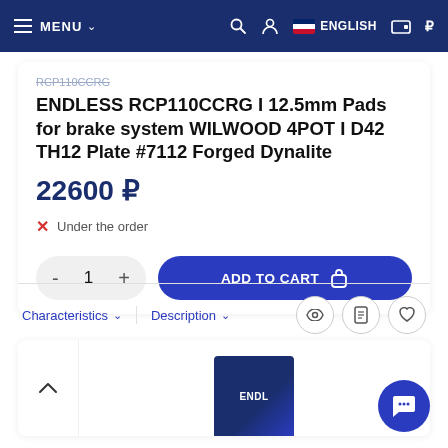MENU  ENGLISH
RCP110CCRG
ENDLESS RCP110CCRG I 12.5mm Pads for brake system WILWOOD 4POT I D42 TH12 Plate #7112 Forged Dynalite
22600 ₽
✕  Under the order
- 1 +  ADD TO CART
Characteristics ∨   Description ∨